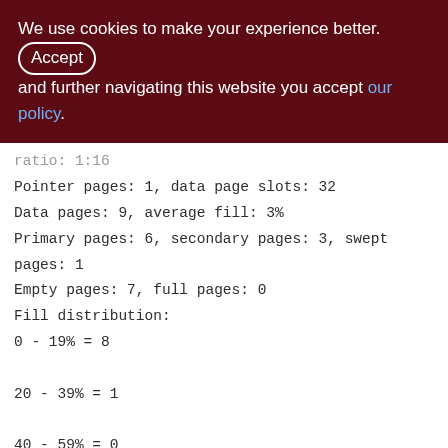We use cookies to make your experience better. By accepting and further navigating this website you accept our policy.
ratio: 1:16
Pointer pages: 1, data page slots: 32
Data pages: 9, average fill: 3%
Primary pages: 6, secondary pages: 3, swept pages: 1
Empty pages: 7, full pages: 0
Fill distribution:
0 - 19% = 8
20 - 39% = 1
40 - 59% = 0
60 - 79% = 0
80 - 99% = 0
[Figure (other): Back to top arrow button (chevron up icon on grey rounded square background)]